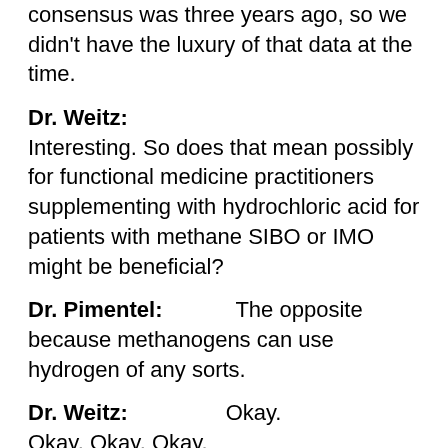consensus was three years ago, so we didn't have the luxury of that data at the time.
Dr. Weitz: Interesting. So does that mean possibly for functional medicine practitioners supplementing with hydrochloric acid for patients with methane SIBO or IMO might be beneficial?
Dr. Pimentel: The opposite because methanogens can use hydrogen of any sorts.
Dr. Weitz: Okay. Okay. Okay. Okay.
Dr. Pimentel: Yeah. So it's possible that you could be making or putting more gas on the fire with